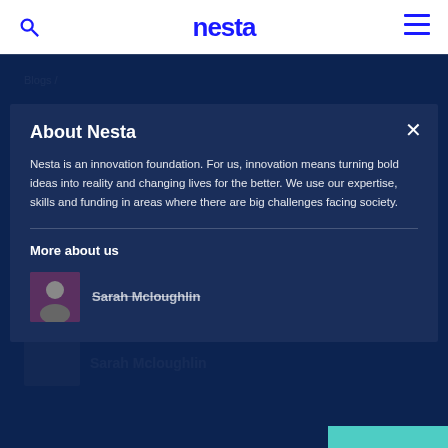nesta
Blogs /
We are stronger together
About Nesta
Nesta is an innovation foundation. For us, innovation means turning bold ideas into reality and changing lives for the better. We use our expertise, skills and funding in areas where there are big challenges facing society.
20 May 20[...]  In Government Innovation  5 min read
More about us
Sarah Mcloughlin